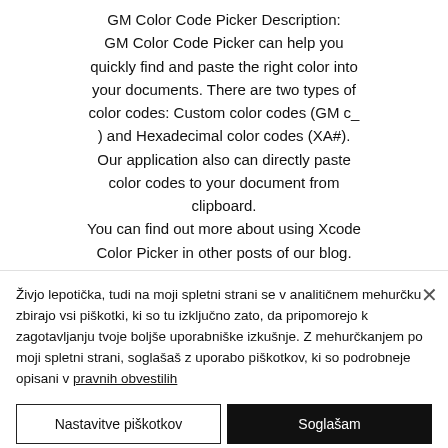GM Color Code Picker Description: GM Color Code Picker can help you quickly find and paste the right color into your documents. There are two types of color codes: Custom color codes (GM c_) and Hexadecimal color codes (XA#). Our application also can directly paste color codes to your document from clipboard. You can find out more about using Xcode Color Picker in other posts of our blog. The GM Color Code Picker application
Živjo lepotička, tudi na moji spletni strani se v analitičnem mehurčku zbirajo vsi piškotki, ki so tu izključno zato, da pripomorejo k zagotavljanju tvoje boljše uporabniške izkušnje. Z mehurčkanjem po moji spletni strani, soglašaš z uporabo piškotkov, ki so podrobneje opisani v pravnih obvestilih
Nastavitve piškotkov
Soglašam